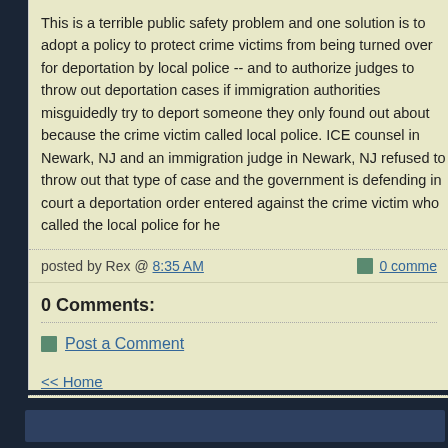This is a terrible public safety problem and one solution is to adopt a policy to protect crime victims from being turned over for deportation by local police -- and to authorize judges to throw out deportation cases if immigration authorities misguidedly try to deport someone they only found out about because the crime victim called local police. ICE counsel in Newark, NJ and an immigration judge in Newark, NJ refused to throw out that type of case and the government is defending in court a deportation order entered against the crime victim who called the local police for he
posted by Rex @ 8:35 AM    0 comme
0 Comments:
Post a Comment
<< Home